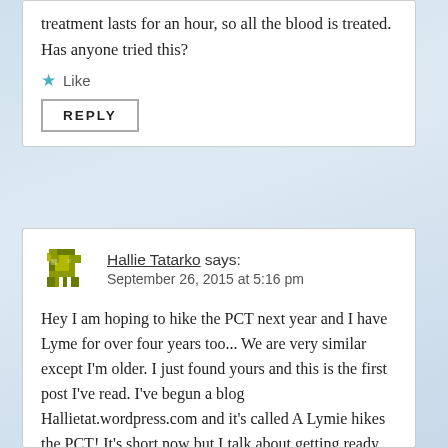treatment lasts for an hour, so all the blood is treated. Has anyone tried this?
Like
REPLY
Hallie Tatarko says:
September 26, 2015 at 5:16 pm
Hey I am hoping to hike the PCT next year and I have Lyme for over four years too... We are very similar except I'm older. I just found yours and this is the first post I've read. I've begun a blog Hallietat.wordpress.com and it's called A Lymie hikes the PCT! It's short now but I talk about getting ready for the hike, gear and